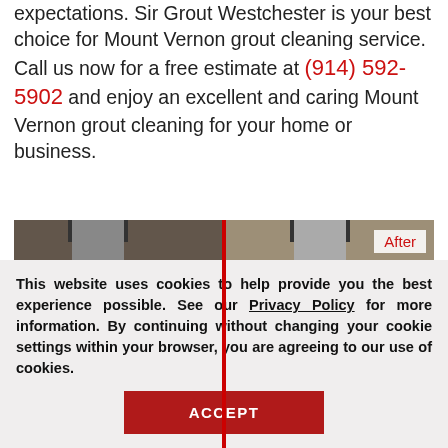expectations. Sir Grout Westchester is your best choice for Mount Vernon grout cleaning service. Call us now for a free estimate at (914) 592-5902 and enjoy an excellent and caring Mount Vernon grout cleaning for your home or business.
[Figure (photo): Before and after photo of floor tile grout cleaning, split by a red vertical line. Left side shows darker/dirtier grout, right side shows lighter/cleaner tile. 'After' label in top right corner. Pillars visible in both halves.]
This website uses cookies to help provide you the best experience possible. See our Privacy Policy for more information. By continuing without changing your cookie settings within your browser, you are agreeing to our use of cookies.